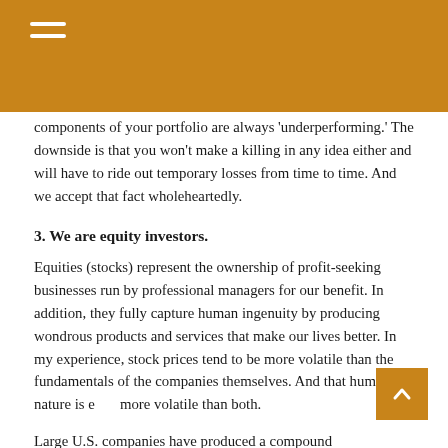components of your portfolio are always 'underperforming.' The downside is that you won't make a killing in any idea either and will have to ride out temporary losses from time to time. And we accept that fact wholeheartedly.
3. We are equity investors.
Equities (stocks) represent the ownership of profit-seeking businesses run by professional managers for our benefit. In addition, they fully capture human ingenuity by producing wondrous products and services that make our lives better. In my experience, stock prices tend to be more volatile than the fundamentals of the companies themselves. And that human nature is even more volatile than both.
Large U.S. companies have produced a compound